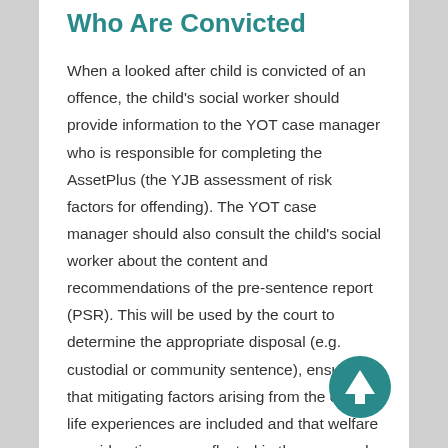Who Are Convicted
When a looked after child is convicted of an offence, the child's social worker should provide information to the YOT case manager who is responsible for completing the AssetPlus (the YJB assessment of risk factors for offending). The YOT case manager should also consult the child's social worker about the content and recommendations of the pre-sentence report (PSR). This will be used by the court to determine the appropriate disposal (e.g. custodial or community sentence), ensuring that mitigating factors arising from the child's life experiences are included and that welfare considerations are reflected in the proposed disposal.
The PSR should include explicit consideration of any